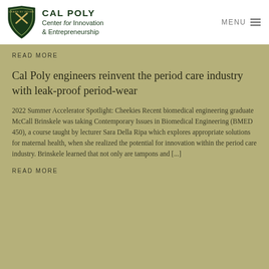[Figure (logo): Cal Poly Center for Innovation & Entrepreneurship logo with shield emblem]
READ MORE
Cal Poly engineers reinvent the period care industry with leak-proof period-wear
2022 Summer Accelerator Spotlight: Cheekies Recent biomedical engineering graduate McCall Brinskele was taking Contemporary Issues in Biomedical Engineering (BMED 450), a course taught by lecturer Sara Della Ripa which explores appropriate solutions for maternal health, when she realized the potential for innovation within the period care industry. Brinskele learned that not only are tampons and [...]
READ MORE